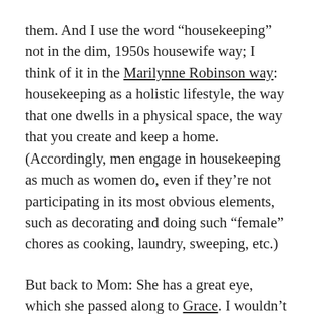them. And I use the word “housekeeping” not in the dim, 1950s housewife way; I think of it in the Marilynne Robinson way: housekeeping as a holistic lifestyle, the way that one dwells in a physical space, the way that you create and keep a home. (Accordingly, men engage in housekeeping as much as women do, even if they’re not participating in its most obvious elements, such as decorating and doing such “female” chores as cooking, laundry, sweeping, etc.)
But back to Mom: She has a great eye, which she passed along to Grace. I wouldn’t say that Kelsey and I are devoid of this eye, but we certainly don’t have its abundant powers, which